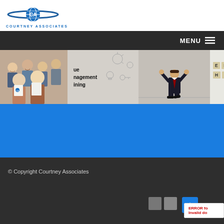[Figure (logo): Courtney Associates logo with globe graphic and text 'COURTNEY ASSOCIATES']
MENU
[Figure (photo): Image strip showing: group of smiling people holding certificates; management training text on wall; stressed person in suit; wooden letter tiles spelling MENTAL HEALTH]
[Figure (photo): Blue section below image strip]
© Copyright Courtney Associates
ERROR for invalid do...